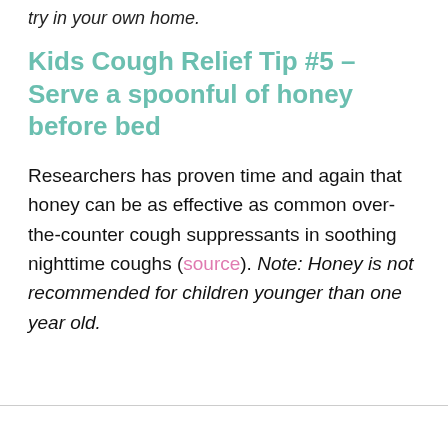try in your own home.
Kids Cough Relief Tip #5 – Serve a spoonful of honey before bed
Researchers has proven time and again that honey can be as effective as common over-the-counter cough suppressants in soothing nighttime coughs (source). Note: Honey is not recommended for children younger than one year old.